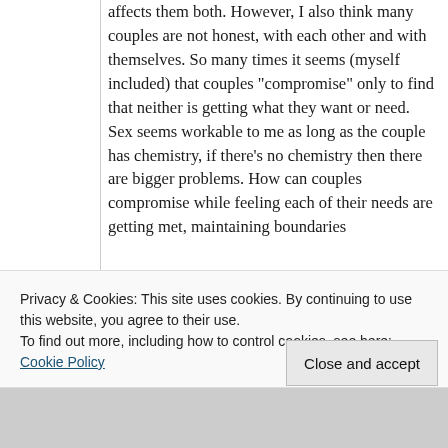affects them both. However, I also think many couples are not honest, with each other and with themselves. So many times it seems (myself included) that couples "compromise" only to find that neither is getting what they want or need. Sex seems workable to me as long as the couple has chemistry, if there's no chemistry then there are bigger problems. How can couples compromise while feeling each of their needs are getting met, maintaining boundaries
Privacy & Cookies: This site uses cookies. By continuing to use this website, you agree to their use.
To find out more, including how to control cookies, see here: Cookie Policy
Close and accept